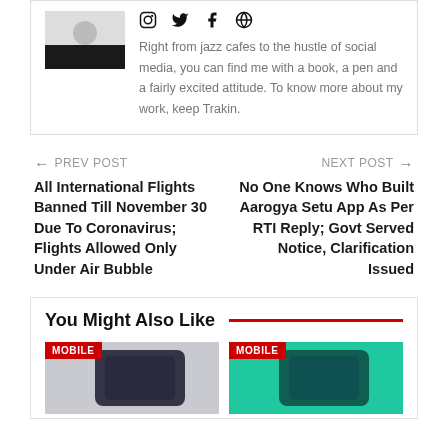[Figure (photo): Author photo thumbnail showing person in dark top, with social media icons (Instagram, Twitter, Facebook, globe/website) to the right]
Right from jazz cafes to the hustle of social media, you can find me with a book, a pen and a fairly excited attitude. To know more about my work, keep Trakin.
← PREV POST
All International Flights Banned Till November 30 Due To Coronavirus; Flights Allowed Only Under Air Bubble
NEXT POST →
No One Knows Who Built Aarogya Setu App As Per RTI Reply; Govt Served Notice, Clarification Issued
You Might Also Like
[Figure (photo): MOBILE badge over dark phone image on grey background]
[Figure (photo): MOBILE badge over phone/device on teal/green background]